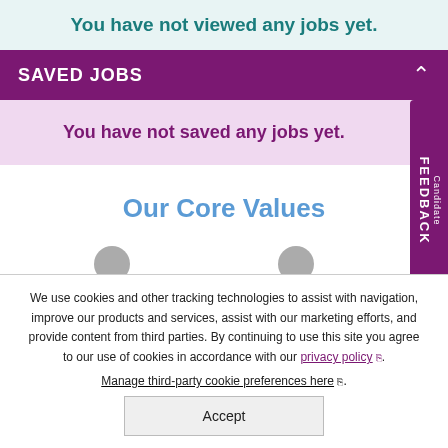You have not viewed any jobs yet.
SAVED JOBS
You have not saved any jobs yet.
Our Core Values
We use cookies and other tracking technologies to assist with navigation, improve our products and services, assist with our marketing efforts, and provide content from third parties. By continuing to use this site you agree to our use of cookies in accordance with our privacy policy. Manage third-party cookie preferences here.
Accept